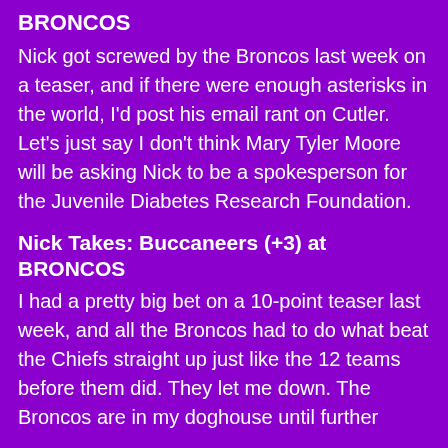BRONCOS
Nick got screwed by the Broncos last week on a teaser, and if there were enough asterisks in the world, I'd post his email rant on Cutler. Let's just say I don't think Mary Tyler Moore will be asking Nick to be a spokesperson for the Juvenile Diabetes Research Foundation.
Nick Takes: Buccaneers (+3) at BRONCOS
I had a pretty big bet on a 10-point teaser last week, and all the Broncos had to do what beat the Chiefs straight up just like the 12 teams before them did. They let me down. The Broncos are in my doghouse until further